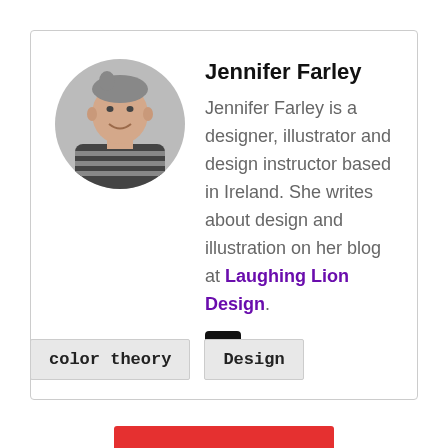[Figure (photo): Circular avatar photo of Jennifer Farley, a woman with hair up, wearing a striped top, grayscale photo]
Jennifer Farley
Jennifer Farley is a designer, illustrator and design instructor based in Ireland. She writes about design and illustration on her blog at Laughing Lion Design.
[Figure (logo): Twitter bird icon in a black rounded square]
color theory
Design